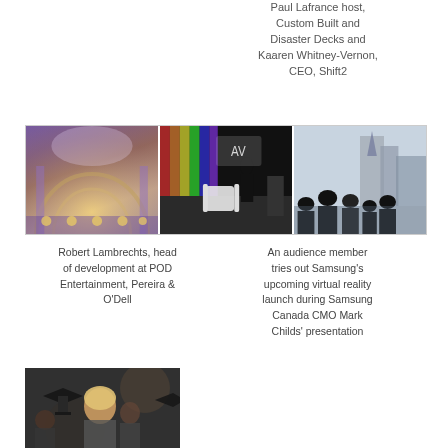Paul Lafrance host, Custom Built and Disaster Decks and Kaaren Whitney-Vernon, CEO, Shift2
[Figure (photo): Three-panel photo strip: left panel shows a grand venue interior with vaulted ceiling and warm lighting; center panel shows a conference stage with colorful lights and a presenter; right panel shows audience silhouettes against a window with buildings outside.]
Robert Lambrechts, head of development at POD Entertainment, Pereira & O'Dell
An audience member tries out Samsung’s upcoming virtual reality launch during Samsung Canada CMO Mark Childs’ presentation
[Figure (photo): Photo of people at an event, appearing to be graduates or attendees at a formal gathering.]